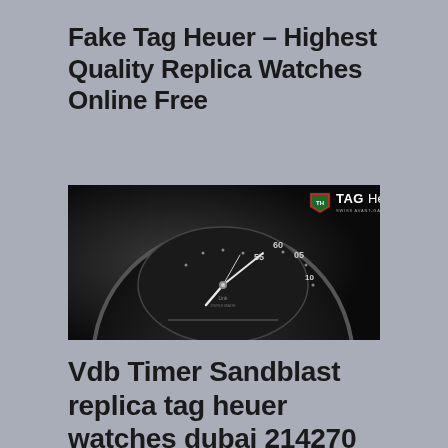Fake Tag Heuer – Highest Quality Replica Watches Online Free
[Figure (photo): Close-up photo of a TAG Heuer watch face/dial showing chronograph subdial with minute markings (55, 60, 05, 10) and watch hands, with TAG Heuer logo in top right corner on dark background]
Vdb Timer Sandblast replica tag heuer watches dubai 214270